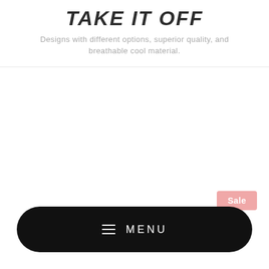TAKE IT OFF
Designs with different options, superior quality, and breathable cool material.
Sale
MENU